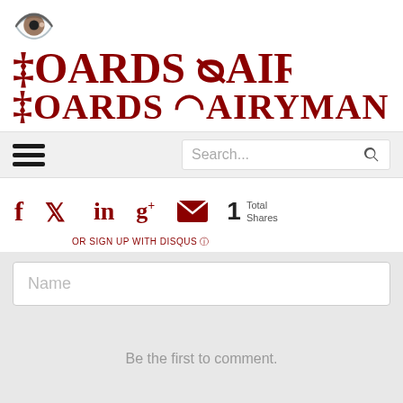[Figure (logo): Hoard's Dairyman logo in dark red serif font]
[Figure (screenshot): Navigation bar with hamburger menu icon (three horizontal bars) on left and search box on right]
[Figure (infographic): Social share bar with Facebook, Twitter, LinkedIn, Google+, Email icons in dark red, and share count showing 1 Total Shares. Text below reads OR SIGN UP WITH DISQUS]
[Figure (screenshot): Disqus comment section with Name input field, empty comment area with text 'Be the first to comment.', footer with Subscribe and Do Not Sell My Data options, DISQUS branding, and an up-arrow scroll button]